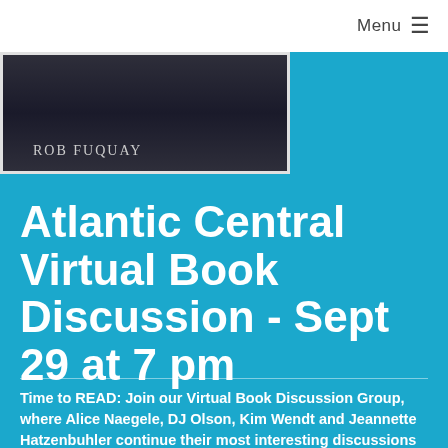Menu ≡
[Figure (photo): Book cover image showing author name Rob Fuquay on a dark background]
Atlantic Central Virtual Book Discussion - Sept 29 at 7 pm
Time to READ: Join our Virtual Book Discussion Group, where Alice Naegele, DJ Olson, Kim Wendt and Jeannette Hatzenbuhler continue their most interesting discussions on books, on missions and on life. Anyone interested is welcome to join us. Contact any of the above for more info about the current book